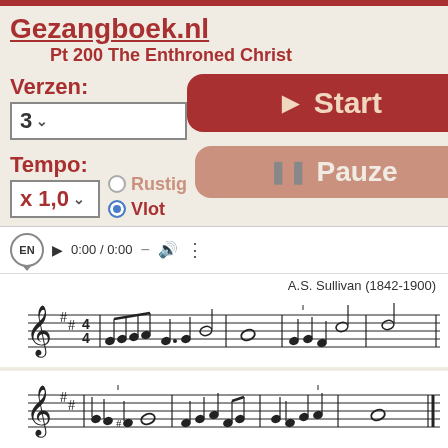Gezangboek.nl
Pt 200 The Enthroned Christ
Verzen:
3
Tempo:
x 1,0
Rustig
Vlot
[Figure (screenshot): Start button (dark red rounded rectangle with play icon and text 'Start')]
[Figure (screenshot): Pauze button (pink rounded rectangle with pause icon and text 'Pauze')]
EN  ▶  0:00 / 0:00  —  🔊  ⋮
A.S. Sullivan (1842-1900)
[Figure (illustration): Musical staff notation in D major (2 sharps), 4/4 time, first line of sheet music for The Enthroned Christ by A.S. Sullivan]
[Figure (illustration): Musical staff notation in D major (2 sharps), second line of sheet music for The Enthroned Christ]